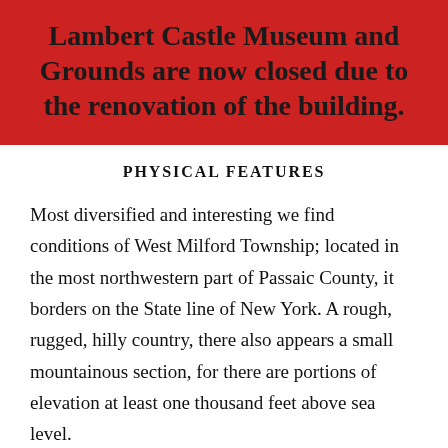Lambert Castle Museum and Grounds are now closed due to the renovation of the building.
PHYSICAL FEATURES
Most diversified and interesting we find conditions of West Milford Township; located in the most northwestern part of Passaic County, it borders on the State line of New York. A rough, rugged, hilly country, there also appears a small mountainous section, for there are portions of elevation at least one thousand feet above sea level.